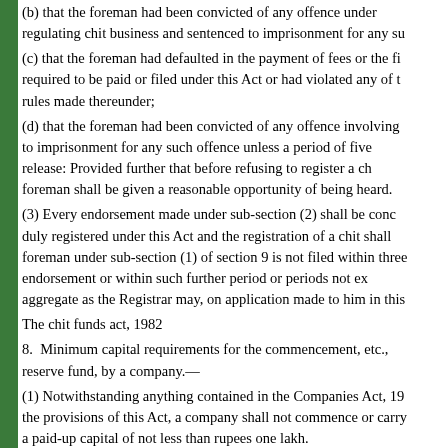(b) that the foreman had been convicted of any offence under any law regulating chit business and sentenced to imprisonment for any su
(c) that the foreman had defaulted in the payment of fees or the fi required to be paid or filed under this Act or had violated any of t rules made thereunder;
(d) that the foreman had been convicted of any offence involving to imprisonment for any such offence unless a period of five release: Provided further that before refusing to register a ch foreman shall be given a reasonable opportunity of being heard.
(3) Every endorsement made under sub-section (2) shall be conc duly registered under this Act and the registration of a chit shall foreman under sub-section (1) of section 9 is not filed within three endorsement or within such further period or periods not ex aggregate as the Registrar may, on application made to him in this
The chit funds act, 1982
8. Minimum capital requirements for the commencement, etc., reserve fund, by a company.—
(1) Notwithstanding anything contained in the Companies Act, 19 the provisions of this Act, a company shall not commence or carry a paid-up capital of not less than rupees one lakh.